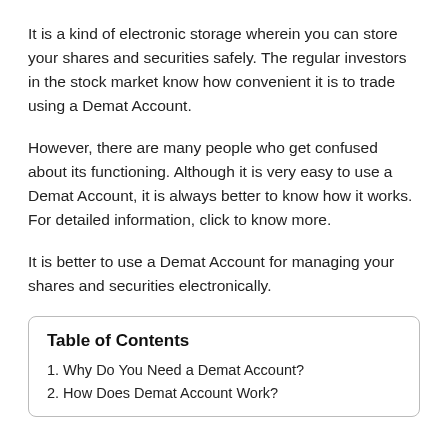It is a kind of electronic storage wherein you can store your shares and securities safely. The regular investors in the stock market know how convenient it is to trade using a Demat Account.
However, there are many people who get confused about its functioning. Although it is very easy to use a Demat Account, it is always better to know how it works. For detailed information, click to know more.
It is better to use a Demat Account for managing your shares and securities electronically.
Table of Contents
1. Why Do You Need a Demat Account?
2. How Does Demat Account Work?